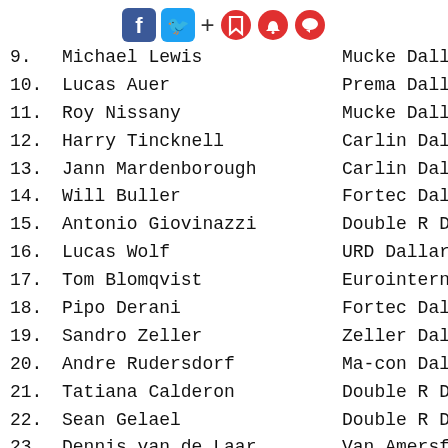[Figure (other): Social media sharing icons: Facebook, Twitter, plus sign, bookmark, notification bell, and comment bubble icons]
9. Michael Lewis — Mucke Dallara-
10. Lucas Auer — Prema Dallara-
11. Roy Nissany — Mucke Dallara-
12. Harry Tincknell — Carlin Dallara
13. Jann Mardenborough — Carlin Dallara
14. Will Buller — Fortec Dallara
15. Antonio Giovinazzi — Double R Dalla
16. Lucas Wolf — URD Dallara-Me
17. Tom Blomqvist — Eurointernatio
18. Pipo Derani — Fortec Dallara
19. Sandro Zeller — Zeller Dallara
20. Andre Rudersdorf — Ma-con Dallara
21. Tatiana Calderon — Double R Dalla
22. Sean Gelael — Double R Dalla
23. Dennis van de Laar — Van Amersfoort
24. Spike Goddard — T-Sport Dalla